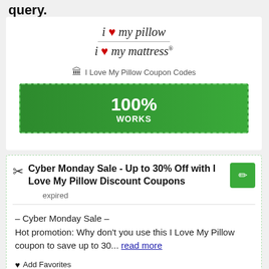query.
[Figure (logo): i love my pillow / i love my mattress logo with red hearts]
I Love My Pillow Coupon Codes
100% WORKS
Cyber Monday Sale - Up to 30% Off with I Love My Pillow Discount Coupons
expired
– Cyber Monday Sale –
Hot promotion: Why don't you use this I Love My Pillow coupon to save up to 30... read more
Add Favorites